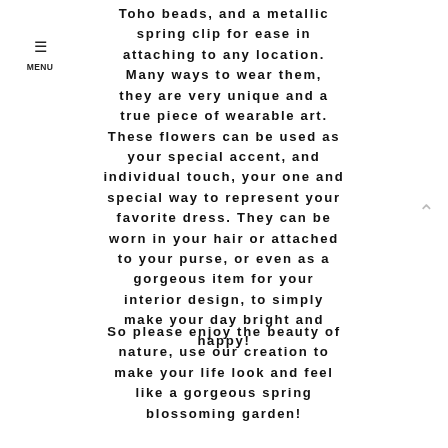Toho beads, and a metallic spring clip for ease in attaching to any location. Many ways to wear them, they are very unique and a true piece of wearable art. These flowers can be used as your special accent, and individual touch, your one and special way to represent your favorite dress. They can be worn in your hair or attached to your purse, or even as a gorgeous item for your interior design, to simply make your day bright and happy!
So please enjoy the beauty of nature, use our creation to make your life look and feel like a gorgeous spring blossoming garden!